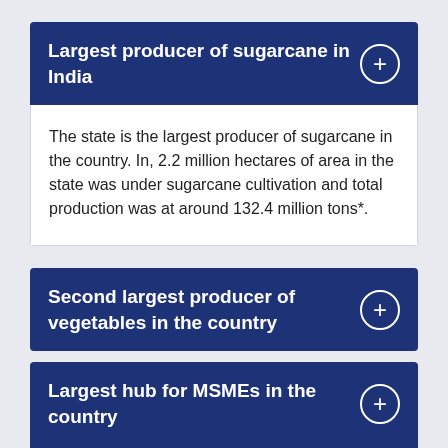Largest producer of sugarcane in India
The state is the largest producer of sugarcane in the country. In, 2.2 million hectares of area in the state was under sugarcane cultivation and total production was at around 132.4 million tons*.
Second largest producer of vegetables in the country
Largest hub for MSMEs in the country